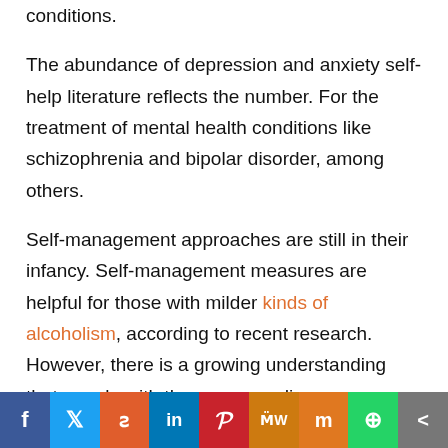conditions.
The abundance of depression and anxiety self-help literature reflects the number. For the treatment of mental health conditions like schizophrenia and bipolar disorder, among others.
Self-management approaches are still in their infancy. Self-management measures are helpful for those with milder kinds of alcoholism, according to recent research. However, there is a growing understanding that people with these severe diseases can play a significant part in their
[Figure (infographic): Social media sharing bar with icons for Facebook, Twitter, Reddit, LinkedIn, Pinterest, MeWe, Mix, WhatsApp, and Share]